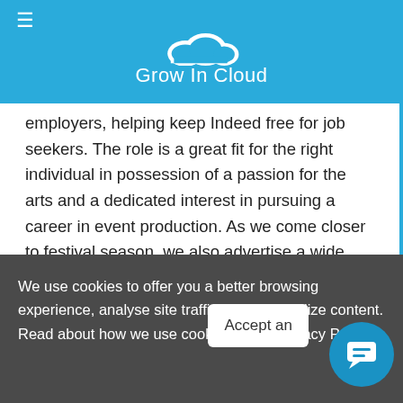Grow In Cloud
employers, helping keep Indeed free for job seekers. The role is a great fit for the right individual in possession of a passion for the arts and a dedicated interest in pursuing a career in event production. As we come closer to festival season, we also advertise a wide range of short-term contract roles and casual positions. Adelaide Fringe employs a team of year round staff who work in marketing, partnerships, program operations, production, finance and ticketing. Sort by: relevance - date. Find your ideal job at SEEK with 19 Adelaide Fringe jobs found in All Australia. Sort by Relevance Date Job type Any job type Full time Part time Casual/Temporary Listed date Any time Last 24 hours Last 7 days Last 14 days Last 28 days. Find your ideal job at
We use cookies to offer you a better browsing experience, analyse site traffic and personalize content. Read about how we use cookies in our Privacy Policy